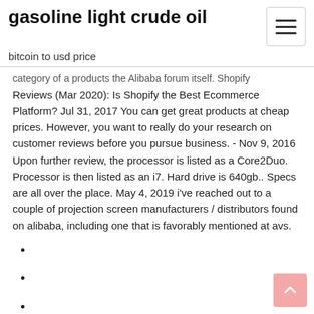gasoline light crude oil
bitcoin to usd price
category of a products the Alibaba forum itself. Shopify Reviews (Mar 2020): Is Shopify the Best Ecommerce Platform? Jul 31, 2017 You can get great products at cheap prices. However, you want to really do your research on customer reviews before you pursue business. - Nov 9, 2016 Upon further review, the processor is listed as a Core2Duo. Processor is then listed as an i7. Hard drive is 640gb.. Specs are all over the place. May 4, 2019 i've reached out to a couple of projection screen manufacturers / distributors found on alibaba, including one that is favorably mentioned at avs.